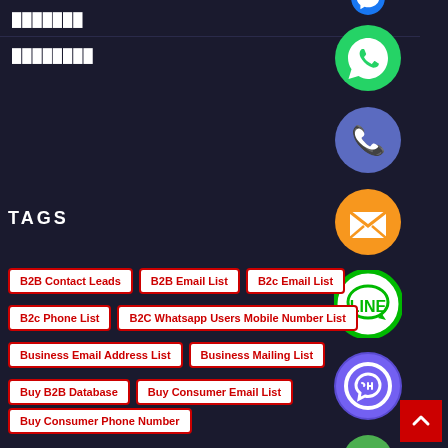███████
████████
TAGS
[Figure (illustration): Social media icons column: blue messenger icon (top, partially visible), green WhatsApp icon, blue phone icon, orange email/envelope icon, green LINE icon, purple Viber icon, green close/X icon]
B2B Contact Leads
B2B Email List
B2c Email List
B2c Phone List
B2C Whatsapp Users Mobile Number List
Business Email Address List
Business Mailing List
Buy B2B Database
Buy Consumer Email List
Buy Consumer Phone Number
Buy WhatsApp Number List
Cell Phone Number List